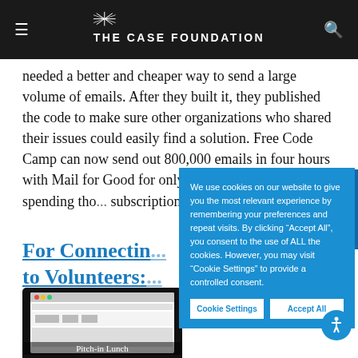THE CASE FOUNDATION
needed a better and cheaper way to send a large volume of emails. After they built it, they published the code to make sure other organizations who shared their issues could easily find a solution. Free Code Camp can now send out 800,000 emails in four hours with Mail for Good for only the $10/m... instead of spending tho... subscription service. Vi...
For Connectin... to Volunteers:
[Figure (screenshot): Laptop screen screenshot showing a web interface with 'Pitch-in Lunch' text visible at bottom]
We use cookies on our website to give you the most relevant experience by remembering your preferences and repeat visits. By clicking "Accept All", you consent to the use of ALL the cookies. However, you may visit "Cookie Settings" to provide a controlled consent.